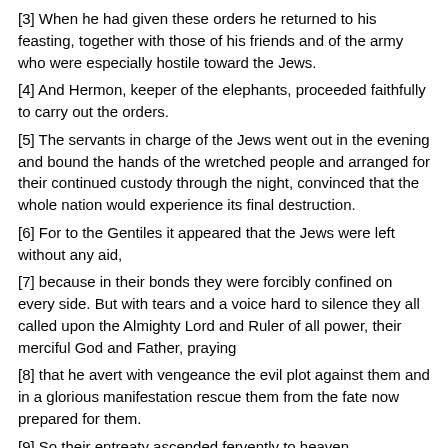[3] When he had given these orders he returned to his feasting, together with those of his friends and of the army who were especially hostile toward the Jews.
[4] And Hermon, keeper of the elephants, proceeded faithfully to carry out the orders.
[5] The servants in charge of the Jews went out in the evening and bound the hands of the wretched people and arranged for their continued custody through the night, convinced that the whole nation would experience its final destruction.
[6] For to the Gentiles it appeared that the Jews were left without any aid,
[7] because in their bonds they were forcibly confined on every side. But with tears and a voice hard to silence they all called upon the Almighty Lord and Ruler of all power, their merciful God and Father, praying
[8] that he avert with vengeance the evil plot against them and in a glorious manifestation rescue them from the fate now prepared for them.
[9] So their entreaty ascended fervently to heaven.
[10] Hermon, however, when he had drugged the pitiless elephants